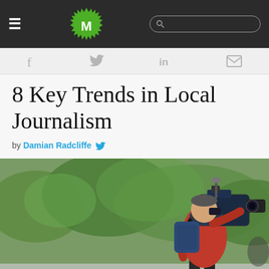M [logo] [hamburger menu] [search bar]
[Figure (logo): Green spiky circle logo with letter M in white, on dark navigation bar]
f [facebook] [twitter] in [linkedin] [email]
8 Key Trends in Local Journalism
by Damian Radcliffe [twitter bird icon]
[Figure (photo): Cameraman in red jacket operating a large professional broadcast camera on a shoulder rig, outdoors with green trees in the background]